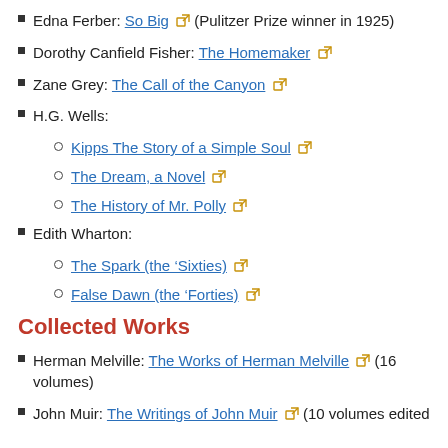Edna Ferber: So Big (Pulitzer Prize winner in 1925)
Dorothy Canfield Fisher: The Homemaker
Zane Grey: The Call of the Canyon
H.G. Wells:
Kipps The Story of a Simple Soul
The Dream, a Novel
The History of Mr. Polly
Edith Wharton:
The Spark (the ‘Sixties)
False Dawn (the ‘Forties)
Collected Works
Herman Melville: The Works of Herman Melville (16 volumes)
John Muir: The Writings of John Muir (10 volumes edited